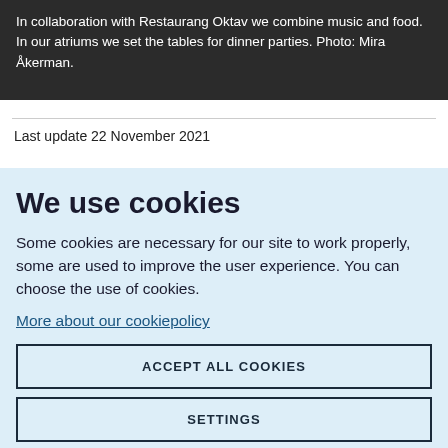In collaboration with Restaurang Oktav we combine music and food. In our atriums we set the tables for dinner parties. Photo: Mira Åkerman.
Last update 22 November 2021
We use cookies
Some cookies are necessary for our site to work properly, some are used to improve the user experience. You can choose the use of cookies.
More about our cookiepolicy
ACCEPT ALL COOKIES
SETTINGS